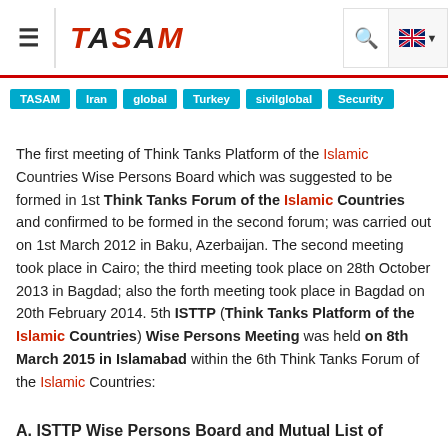≡  TASAM  🔍  🇬🇧▾
TASAM
Iran
global
Turkey
sivilglobal
Security
The first meeting of Think Tanks Platform of the Islamic Countries Wise Persons Board which was suggested to be formed in 1st Think Tanks Forum of the Islamic Countries and confirmed to be formed in the second forum; was carried out on 1st March 2012 in Baku, Azerbaijan. The second meeting took place in Cairo; the third meeting took place on 28th October 2013 in Bagdad; also the forth meeting took place in Bagdad on 20th February 2014. 5th ISTTP (Think Tanks Platform of the Islamic Countries) Wise Persons Meeting was held on 8th March 2015 in Islamabad within the 6th Think Tanks Forum of the Islamic Countries:
A. ISTTP Wise Persons Board and Mutual List of